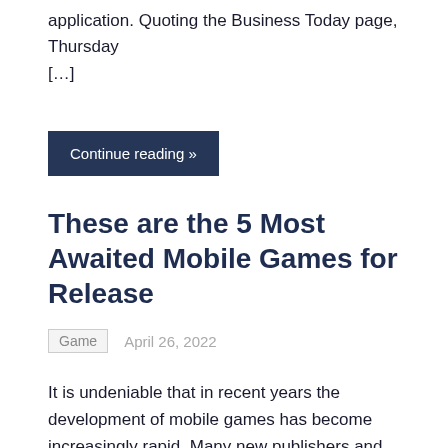application. Quoting the Business Today page, Thursday [...]
Continue reading »
These are the 5 Most Awaited Mobile Games for Release
Game   April 26, 2022
It is undeniable that in recent years the development of mobile games has become increasingly rapid. Many new publishers and developers who previously worked on [...]
Continue reading »